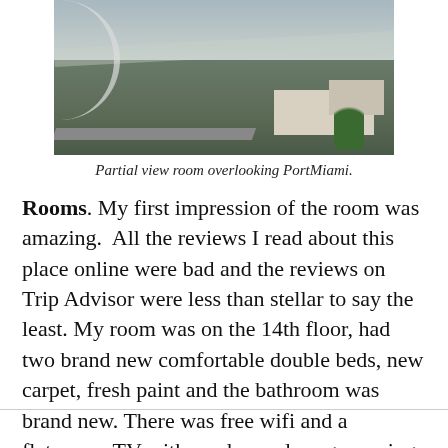[Figure (photo): Aerial photo of a partial view room overlooking PortMiami, showing buildings, roads, and palm trees from a high vantage point.]
Partial view room overlooking PortMiami.
Rooms. My first impression of the room was amazing.  All the reviews I read about this place online were bad and the reviews on Trip Advisor were less than stellar to say the least. My room was on the 14th floor, had two brand new comfortable double beds, new carpet, fresh paint and the bathroom was brand new. There was free wifi and a flatscreen TV with on-demand programming. We had a partial bay-front view.